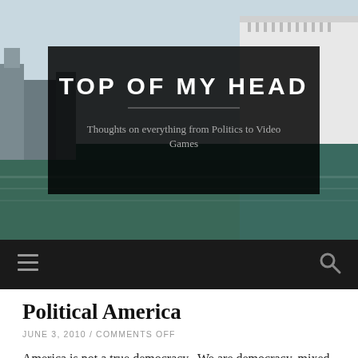[Figure (photo): Header banner with blog title overlay on a harbor/city background photo showing water, buildings, and a cruise ship]
TOP OF MY HEAD
Thoughts on everything from Politics to Video Games
Political America
JUNE 3, 2010 / COMMENTS OFF
America is not a true democracy.  We are democracy, mixed with republic with a bit of socialism and a pinch